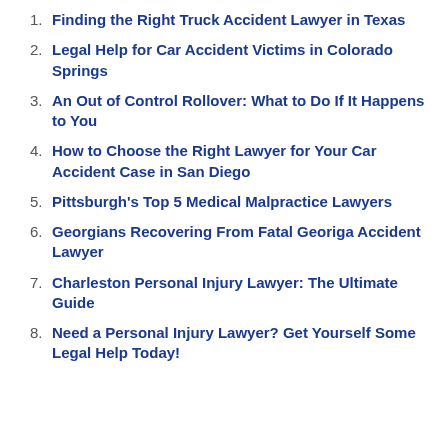1. Finding the Right Truck Accident Lawyer in Texas
2. Legal Help for Car Accident Victims in Colorado Springs
3. An Out of Control Rollover: What to Do If It Happens to You
4. How to Choose the Right Lawyer for Your Car Accident Case in San Diego
5. Pittsburgh's Top 5 Medical Malpractice Lawyers
6. Georgians Recovering From Fatal Georiga Accident Lawyer
7. Charleston Personal Injury Lawyer: The Ultimate Guide
8. Need a Personal Injury Lawyer? Get Yourself Some Legal Help Today!